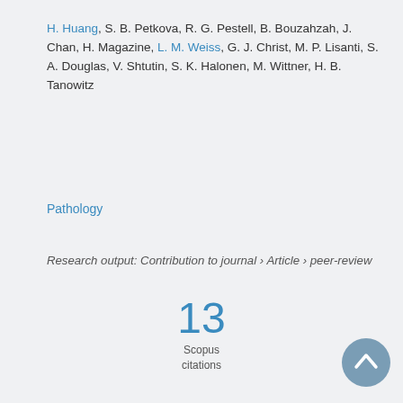H. Huang, S. B. Petkova, R. G. Pestell, B. Bouzahzah, J. Chan, H. Magazine, L. M. Weiss, G. J. Christ, M. P. Lisanti, S. A. Douglas, V. Shtutin, S. K. Halonen, M. Wittner, H. B. Tanowitz
Pathology
Research output: Contribution to journal › Article › peer-review
[Figure (infographic): Scopus citations badge showing 13 citations]
[Figure (logo): Altmetric logo - colorful blob with orange, green, and purple circles]
[Figure (other): Scroll to top button - dark teal circle with upward chevron arrow]